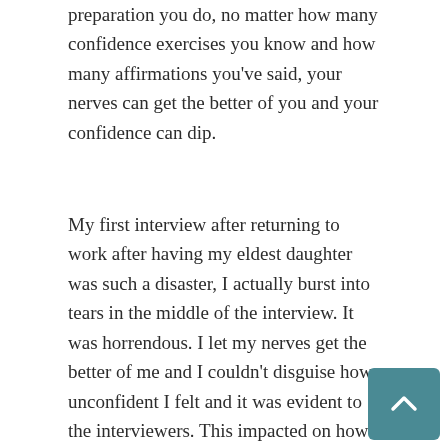preparation you do, no matter how many confidence exercises you know and how many affirmations you've said, your nerves can get the better of you and your confidence can dip.
My first interview after returning to work after having my eldest daughter was such a disaster, I actually burst into tears in the middle of the interview. It was horrendous. I let my nerves get the better of me and I couldn't disguise how unconfident I felt and it was evident to the interviewers. This impacted on how they treated me. Although they were kind, they were telling me not to worry and tried to reassure me which ultimately gave me permission to fall apart. Had I employed the techniques I am about to share with you, they would not have known how unconfident I was feeling inside and would have